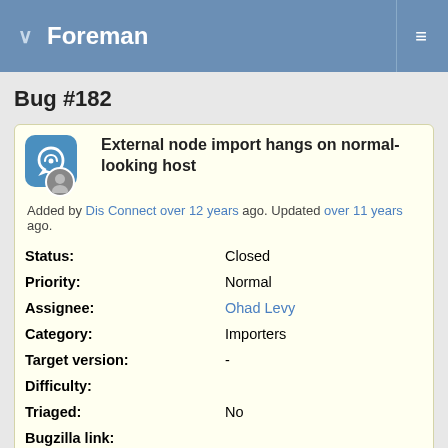Foreman
Bug #182
External node import hangs on normal-looking host
Added by Dis Connect over 12 years ago. Updated over 11 years ago.
| Field | Value |
| --- | --- |
| Status: | Closed |
| Priority: | Normal |
| Assignee: | Ohad Levy |
| Category: | Importers |
| Target version: | - |
| Difficulty: |  |
| Triaged: | No |
| Bugzilla link: |  |
| Pull request: |  |